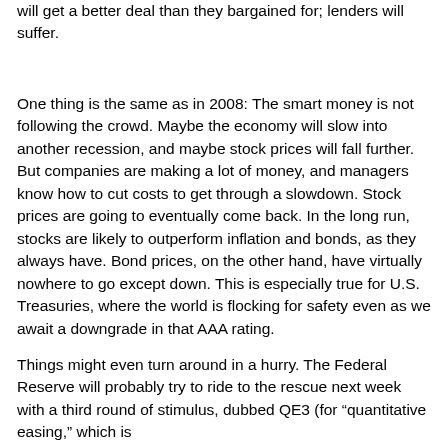will get a better deal than they bargained for; lenders will suffer.
One thing is the same as in 2008: The smart money is not following the crowd. Maybe the economy will slow into another recession, and maybe stock prices will fall further. But companies are making a lot of money, and managers know how to cut costs to get through a slowdown. Stock prices are going to eventually come back. In the long run, stocks are likely to outperform inflation and bonds, as they always have. Bond prices, on the other hand, have virtually nowhere to go except down. This is especially true for U.S. Treasuries, where the world is flocking for safety even as we await a downgrade in that AAA rating.
Things might even turn around in a hurry. The Federal Reserve will probably try to ride to the rescue next week with a third round of stimulus, dubbed QE3 (for “quantitative easing,” which is